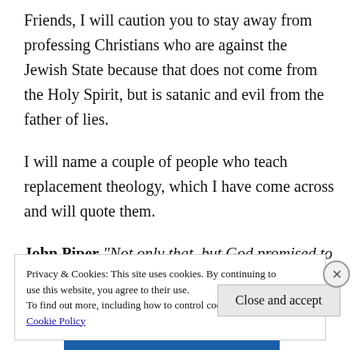Friends, I will caution you to stay away from professing Christians who are against the Jewish State because that does not come from the Holy Spirit, but is satanic and evil from the father of lies.
I will name a couple of people who teach replacement theology, which I have come across and will quote them.
John Piper “Not only that, but God promised to
Privacy & Cookies: This site uses cookies. By continuing to use this website, you agree to their use.
To find out more, including how to control cookies, see here:
Cookie Policy